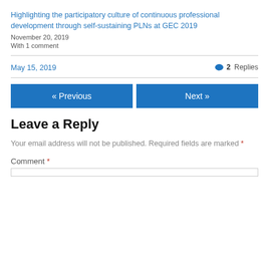Highlighting the participatory culture of continuous professional development through self-sustaining PLNs at GEC 2019
November 20, 2019
With 1 comment
May 15, 2019
2 Replies
« Previous
Next »
Leave a Reply
Your email address will not be published. Required fields are marked *
Comment *